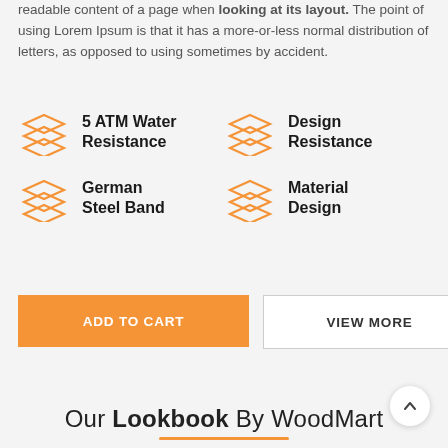readable content of a page when looking at its layout. The point of using Lorem Ipsum is that it has a more-or-less normal distribution of letters, as opposed to using sometimes by accident.
5 ATM Water Resistance
Design Resistance
German Steel Band
Material Design
ADD TO CART
VIEW MORE
Our Lookbook By WoodMart